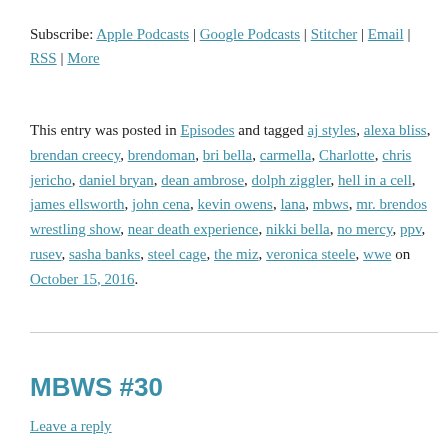Subscribe: Apple Podcasts | Google Podcasts | Stitcher | Email | RSS | More
This entry was posted in Episodes and tagged aj styles, alexa bliss, brendan creecy, brendoman, bri bella, carmella, Charlotte, chris jericho, daniel bryan, dean ambrose, dolph ziggler, hell in a cell, james ellsworth, john cena, kevin owens, lana, mbws, mr. brendos wrestling show, near death experience, nikki bella, no mercy, ppv, rusev, sasha banks, steel cage, the miz, veronica steele, wwe on October 15, 2016.
MBWS #30
Leave a reply